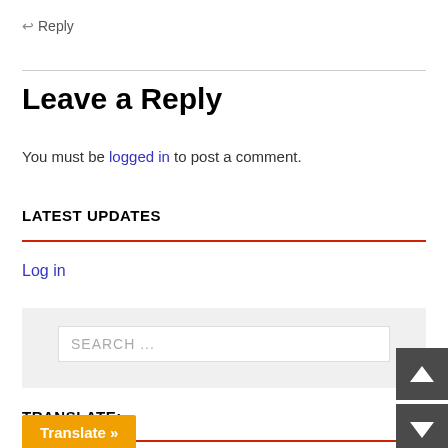↩ Reply
Leave a Reply
You must be logged in to post a comment.
LATEST UPDATES
Log in
[Figure (screenshot): Search box with placeholder text 'SEARCH ...' on a light gray background]
TRANSLATE:
[Figure (other): Orange 'Translate »' button]
[Figure (other): Dark gray scroll up and scroll down arrow buttons on the right side]